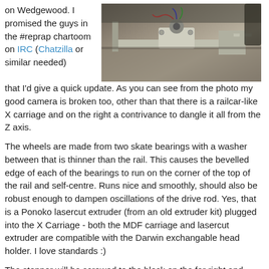on Wedgewood. I promised the guys in the #reprap chartoom on IRC (Chatzilla or similar needed) that I'd give a quick update. As you can see from the photo my good camera is broken too, other than that there is a railcar-like X carriage and on the right a contrivance to dangle it all from the Z axis.
[Figure (photo): Photo of a RepRap 3D printer X carriage assembly mounted on a rail, showing mechanical components including extruder and Z axis mounting.]
The wheels are made from two skate bearings with a washer between that is thinner than the rail. This causes the bevelled edge of each of the bearings to run on the corner of the top of the rail and self-centre. Runs nice and smoothly, should also be robust enough to dampen oscillations of the drive rod. Yes, that is a Ponoko lasercut extruder (from an old extruder kit) plugged into the X Carriage - both the MDF carriage and lasercut extruder are compatible with the Darwin exchangable head holder. I love standards :)
The stepper will be screwed to the block on the far right and coupled to the horizontal threaded rod. Probably put a